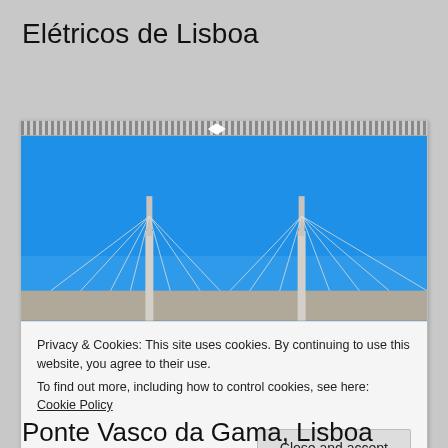Elétricos de Lisboa
[Figure (photo): A wall/spiral-bound calendar showing a photograph of the Vasco da Gama Bridge in Lisbon against a clear blue sky, with cable-stay bridge towers visible at the bottom.]
Privacy & Cookies: This site uses cookies. By continuing to use this website, you agree to their use.
To find out more, including how to control cookies, see here: Cookie Policy
Ponte Vasco da Gama, Lisboa